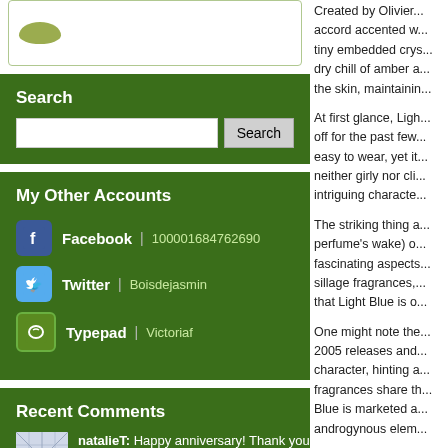[Figure (illustration): White card with olive-colored oval logo element]
Search
Search input field with Search button
My Other Accounts
Facebook | 100001684762690
Twitter | Boisdejasmin
Typepad | Victoriaf
Recent Comments
natalieT: Happy anniversary! Thank you for continuing to ... more »
Created by Olivier... accord accented w... tiny embedded crys... dry chill of amber a... the skin, maintainin...
At first glance, Ligh... off for the past few... easy to wear, yet it... neither girly nor cli... intriguing characte...
The striking thing a... perfume's wake) o... fascinating aspects... sillage fragrances,... that Light Blue is o...
One might note the... 2005 releases and... character, hinting a... fragrances share th... Blue is marketed a... androgynous elem...